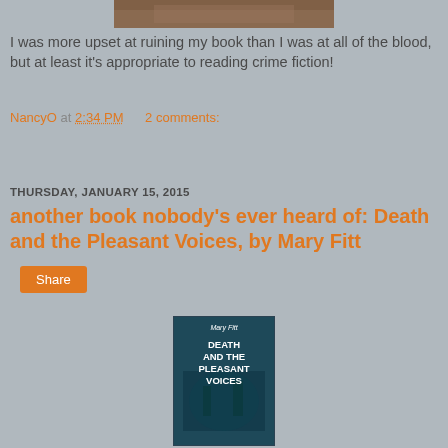[Figure (photo): Partial top of a photo showing what appears to be a person or object, cropped at the top of the page]
I was more upset at ruining my book than I was at all of the blood, but at least it's appropriate to reading crime fiction!
NancyO at 2:34 PM    2 comments:
Share
THURSDAY, JANUARY 15, 2015
another book nobody's ever heard of: Death and the Pleasant Voices, by Mary Fitt
[Figure (photo): Book cover of 'Death and the Pleasant Voices' by Mary Fitt, showing a dark teal/green toned image with white bold text reading 'DEATH AND THE PLEASANT VOICES' and author name 'Mary Fitt' at the top]